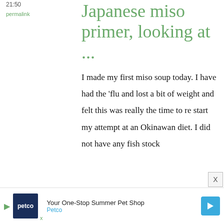21:50
permalink
Japanese miso primer, looking at ...
I made my first miso soup today. I have had the 'flu and lost a bit of weight and felt this was really the time to re start my attempt at an Okinawan diet. I did not have any fish stock
[Figure (screenshot): Advertisement bar at bottom: Petco 'Your One-Stop Summer Pet Shop' ad with navy blue Petco logo box, play arrow icon, close X icon, teal direction arrow icon on the right.]